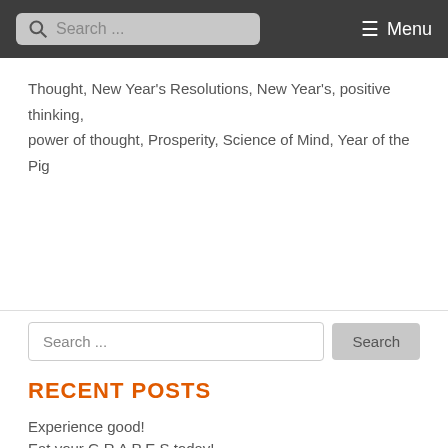Search ... Menu
Thought, New Year's Resolutions, New Year's, positive thinking, power of thought, Prosperity, Science of Mind, Year of the Pig
[Figure (other): Search input field with Search button]
RECENT POSTS
Experience good!
Eat your G R A P E S today!